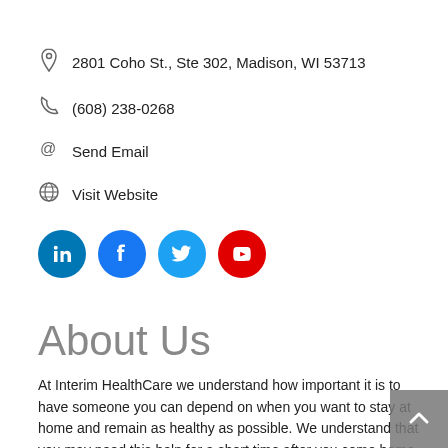2801 Coho St., Ste 302, Madison, WI 53713
(608) 238-0268
Send Email
Visit Website
[Figure (infographic): Four social media icon circles: LinkedIn (blue), Facebook (blue), Twitter (light blue), YouTube (red)]
About Us
At Interim HealthCare we understand how important it is to have someone you can depend on when you want to stay at home and remain as healthy as possible. We understand that you may need this help for a short time after you come home from the hospital or nursing home, or for a longer period of time when you need help to remain at home. Our services are delivered in your home and are centered on you